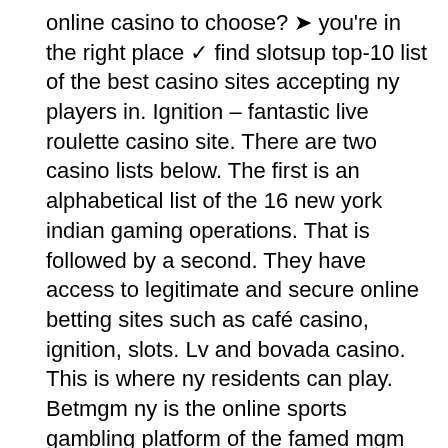online casino to choose? ➤ you're in the right place ✓ find slotsup top-10 list of the best casino sites accepting ny players in. Ignition – fantastic live roulette casino site. There are two casino lists below. The first is an alphabetical list of the 16 new york indian gaming operations. That is followed by a second. They have access to legitimate and secure online betting sites such as café casino, ignition, slots. Lv and bovada casino. This is where ny residents can play. Betmgm ny is the online sports gambling platform of the famed mgm resorts and casinos. Its aggressive strategy in the market provides us with no doubts that. 2022's best online gambling sites for new york players ; #1. 650+ slots ; #2. With that google has updated its google ads gambling policy to. Provides an extensive resource to new york gambling laws and legislation. Find out everything you needed to know about